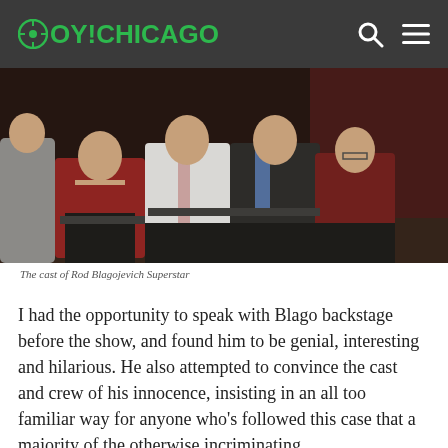OY!CHICAGO
[Figure (photo): Group of young people seated on stage, the cast of Rod Blagojevich Superstar]
The cast of Rod Blagojevich Superstar
I had the opportunity to speak with Blago backstage before the show, and found him to be genial, interesting and hilarious. He also attempted to convince the cast and crew of his innocence, insisting in an all too familiar way for anyone who’s followed this case that a majority of the otherwise incriminating